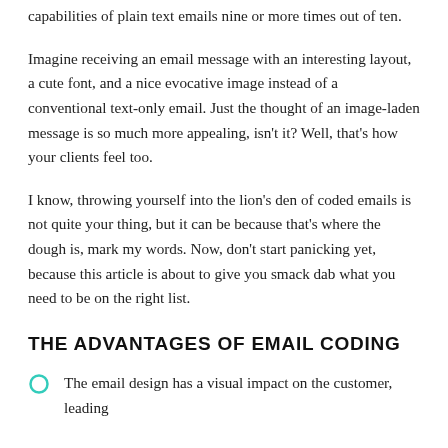capabilities of plain text emails nine or more times out of ten.
Imagine receiving an email message with an interesting layout, a cute font, and a nice evocative image instead of a conventional text-only email. Just the thought of an image-laden message is so much more appealing, isn't it? Well, that's how your clients feel too.
I know, throwing yourself into the lion's den of coded emails is not quite your thing, but it can be because that's where the dough is, mark my words. Now, don't start panicking yet, because this article is about to give you smack dab what you need to be on the right list.
THE ADVANTAGES OF EMAIL CODING
The email design has a visual impact on the customer, leading